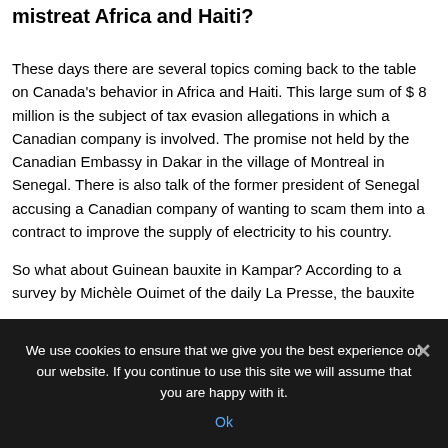mistreat Africa and Haiti?
These days there are several topics coming back to the table on Canada's behavior in Africa and Haiti. This large sum of $ 8 million is the subject of tax evasion allegations in which a Canadian company is involved. The promise not held by the Canadian Embassy in Dakar in the village of Montreal in Senegal. There is also talk of the former president of Senegal accusing a Canadian company of wanting to scam them into a contract to improve the supply of electricity to his country.
So what about Guinean bauxite in Kampar? According to a survey by Michèle Ouimet of the daily La Presse, the bauxite
We use cookies to ensure that we give you the best experience on our website. If you continue to use this site we will assume that you are happy with it.
Ok